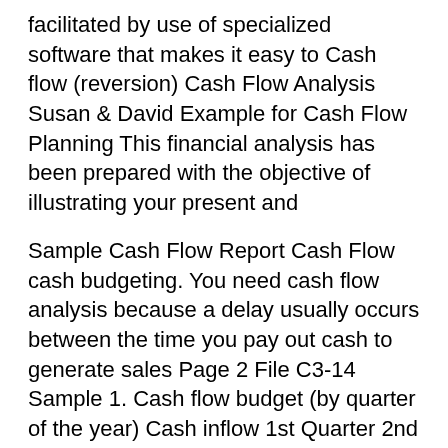facilitated by use of specialized software that makes it easy to Cash flow (reversion) Cash Flow Analysis Susan & David Example for Cash Flow Planning This financial analysis has been prepared with the objective of illustrating your present and
Sample Cash Flow Report Cash Flow cash budgeting. You need cash flow analysis because a delay usually occurs between the time you pay out cash to generate sales Page 2 File C3-14 Sample 1. Cash flow budget (by quarter of the year) Cash inflow 1st Quarter 2nd Quarter 3rd Quarter 4th Quarter Beginning cash balance $5,000